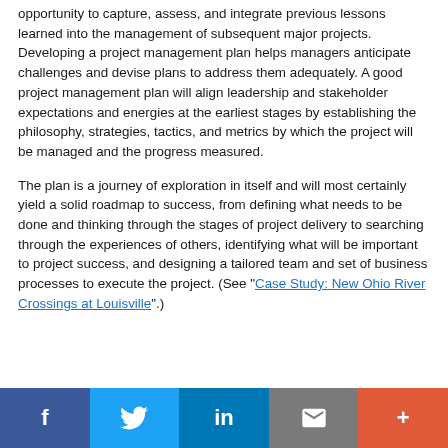opportunity to capture, assess, and integrate previous lessons learned into the management of subsequent major projects. Developing a project management plan helps managers anticipate challenges and devise plans to address them adequately. A good project management plan will align leadership and stakeholder expectations and energies at the earliest stages by establishing the philosophy, strategies, tactics, and metrics by which the project will be managed and the progress measured.
The plan is a journey of exploration in itself and will most certainly yield a solid roadmap to success, from defining what needs to be done and thinking through the stages of project delivery to searching through the experiences of others, identifying what will be important to project success, and designing a tailored team and set of business processes to execute the project. (See "Case Study: New Ohio River Crossings at Louisville".)
[Figure (other): Social media sharing bar with buttons for Facebook (f), Twitter (bird icon), LinkedIn (in), Email (envelope), and More (+)]